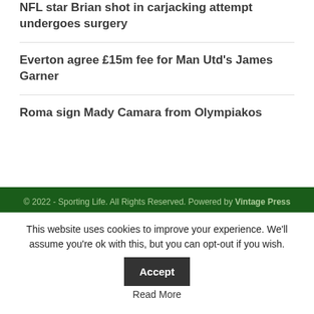NFL star Brian shot in carjacking attempt undergoes surgery
Everton agree £15m fee for Man Utd's James Garner
Roma sign Mady Camara from Olympiakos
[Figure (other): Advertisement placeholder box (grey rectangle)]
© 2022 - Sporting Life. All Rights Reserved. Powered by Vintage Press
This website uses cookies to improve your experience. We'll assume you're ok with this, but you can opt-out if you wish.
Accept
Read More